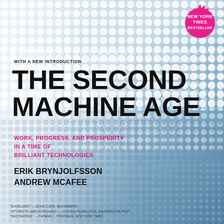[Figure (illustration): Book cover background with halftone dot pattern in white and blue-grey tones, transitioning from dense white dots at top to blue dots at bottom-right]
[Figure (illustration): Pink circular badge in top-right corner reading NEW YORK TIMES BESTSELLER in white bold text]
WITH A NEW INTRODUCTION
THE SECOND MACHINE AGE
WORK, PROGRESS, AND PROSPERITY IN A TIME OF BRILLIANT TECHNOLOGIES
ERIK BRYNJOLFSSON
ANDREW McAFEE
"EXCELLENT." —CLIVE COOK, BLOOMBERG
"OPTIMISTIC AND INTRIGUING." —STEVEN PEARLSTEIN, WASHINGTON POST
"FASCINATING." —THOMAS L. FRIEDMAN, NEW YORK TIMES